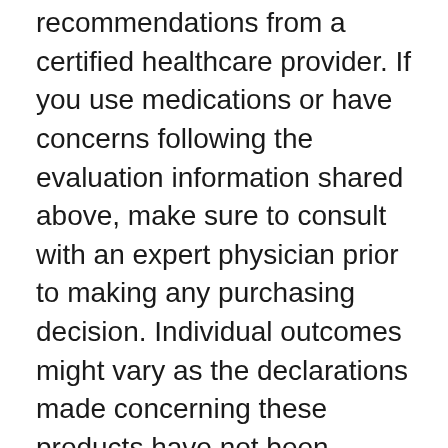recommendations from a certified healthcare provider. If you use medications or have concerns following the evaluation information shared above, make sure to consult with an expert physician prior to making any purchasing decision. Individual outcomes might vary as the declarations made concerning these products have not been evaluated by the Fda. The efficacy of these items has not been verified by FDA-approved research study. These products are not intended to identify, treat, cure or prevent any illness.
A single bottle of VigRx Plus costs close to $70.00 for a single bottle. In doing so, you receive a free month of VigRX nitric assistance, as well as totally free and and then to the company fitness...